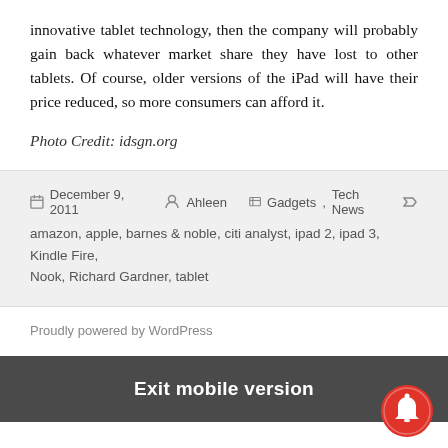innovative tablet technology, then the company will probably gain back whatever market share they have lost to other tablets. Of course, older versions of the iPad will have their price reduced, so more consumers can afford it.
Photo Credit: idsgn.org
December 9, 2011 · Ahleen · Gadgets, Tech News · amazon, apple, barnes & noble, citi analyst, ipad 2, ipad 3, Kindle Fire, Nook, Richard Gardner, tablet
Proudly powered by WordPress
Exit mobile version